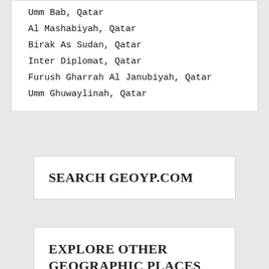Umm Bab, Qatar
Al Mashabiyah, Qatar
Birak As Sudan, Qatar
Inter Diplomat, Qatar
Furush Gharrah Al Janubiyah, Qatar
Umm Ghuwaylinah, Qatar
SEARCH GEOYP.COM
EXPLORE OTHER GEOGRAPHIC PLACES OF